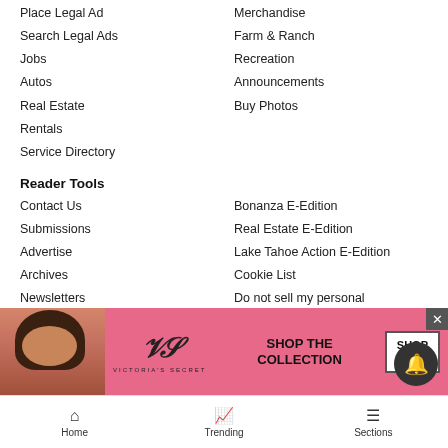Place Legal Ad
Merchandise
Search Legal Ads
Farm & Ranch
Jobs
Recreation
Autos
Announcements
Real Estate
Buy Photos
Rentals
Service Directory
Reader Tools
Contact Us
Bonanza E-Edition
Submissions
Real Estate E-Edition
Advertise
Lake Tahoe Action E-Edition
Archives
Cookie List
Newsletters
Do not sell my personal information
RSS
Tahoe Daily Tribune E-Edition
News Neighbors
Sierra Su...
Grass Va...
[Figure (advertisement): Victoria's Secret advertisement banner with model, logo, 'SHOP THE COLLECTION' text and 'SHOP NOW' button]
Home  Trending  Sections